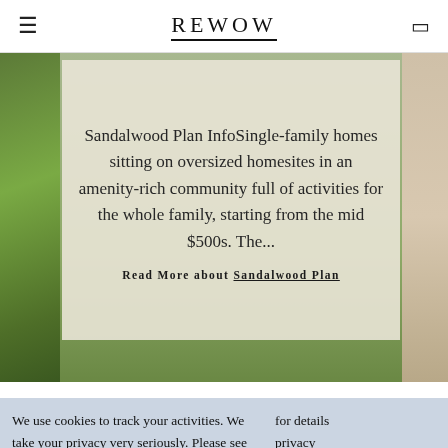REWOW
Sandalwood Plan InfoSingle-family homes sitting on oversized homesites in an amenity-rich community full of activities for the whole family, starting from the mid $500s. The...
Read More about Sandalwood Plan
We use cookies to track your activities. We take your privacy very seriously. Please see our for details privacy and any policy. questions.